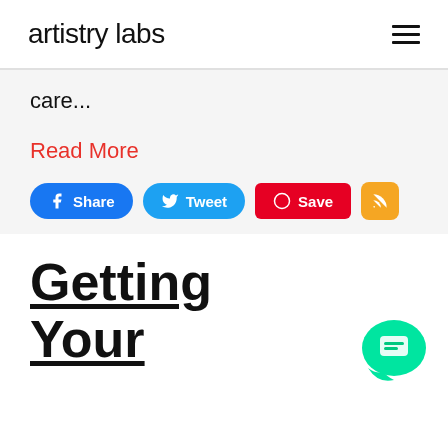artistry labs
care...
Read More
[Figure (infographic): Social share buttons: Facebook Share (blue rounded), Twitter Tweet (blue rounded), Pinterest Save (red rounded rectangle), RSS feed (orange square). Chat bubble widget bottom right (teal/green).]
Getting
Your